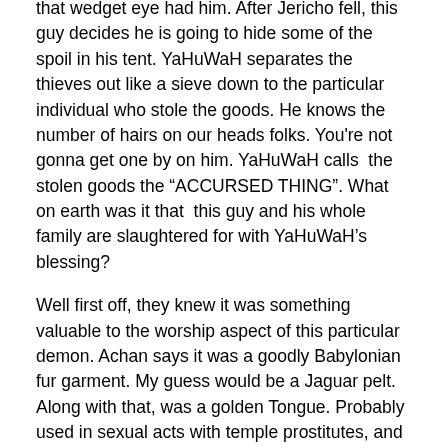that wedget eye had him. After Jericho fell, this guy decides he is going to hide some of the spoil in his tent. YaHuWaH separates the thieves out like a sieve down to the particular individual who stole the goods. He knows the number of hairs on our heads folks. You're not gonna get one by on him. YaHuWaH calls the stolen goods the “ACCURSED THING”. What on earth was it that this guy and his whole family are slaughtered for with YaHuWaH’s blessing?
Well first off, they knew it was something valuable to the worship aspect of this particular demon. Achan says it was a goodly Babylonian fur garment. My guess would be a Jaguar pelt. Along with that, was a golden Tongue. Probably used in sexual acts with temple prostitutes, and lastly 200 pieces of silver. Probably the wages procured by those same acts. All of it was deplorable and Achan